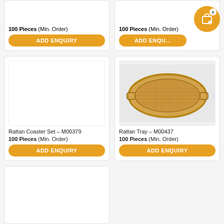100 Pieces (Min. Order)
ADD ENQUIRY
100 Pieces (Min. Order)
ADD ENQUIRY
[Figure (other): Empty product card image placeholder]
Rattan Coaster Set – M00379
100 Pieces (Min. Order)
ADD ENQUIRY
[Figure (photo): Oval rattan tray with woven surface and bamboo handles, photographed on light gray background]
Rattan Tray – M00437
100 Pieces (Min. Order)
ADD ENQUIRY
[Figure (other): Empty product card image placeholder at bottom]